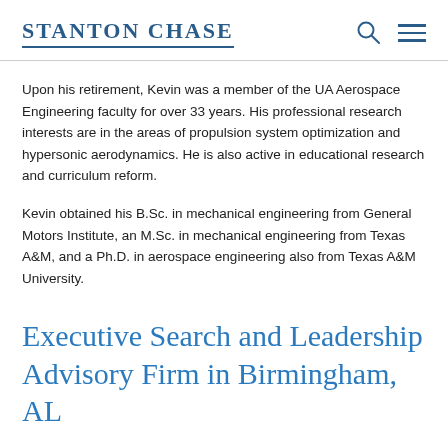STANTON CHASE
Upon his retirement, Kevin was a member of the UA Aerospace Engineering faculty for over 33 years. His professional research interests are in the areas of propulsion system optimization and hypersonic aerodynamics. He is also active in educational research and curriculum reform.
Kevin obtained his B.Sc. in mechanical engineering from General Motors Institute, an M.Sc. in mechanical engineering from Texas A&M, and a Ph.D. in aerospace engineering also from Texas A&M University.
Executive Search and Leadership Advisory Firm in Birmingham, AL